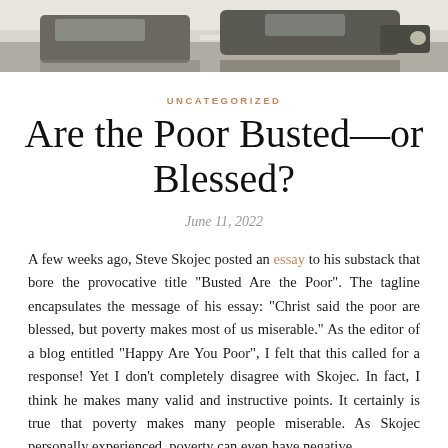[Figure (photo): Top portion of a photo showing cars on a street/parking lot, cropped at the bottom of the image strip.]
UNCATEGORIZED
Are the Poor Busted—or Blessed?
June 11, 2022
A few weeks ago, Steve Skojec posted an essay to his substack that bore the provocative title “Busted Are the Poor”. The tagline encapsulates the message of his essay: “Christ said the poor are blessed, but poverty makes most of us miserable.” As the editor of a blog entitled “Happy Are You Poor”, I felt that this called for a response! Yet I don’t completely disagree with Skojec. In fact, I think he makes many valid and instructive points. It certainly is true that poverty makes many people miserable. As Skojec personally experienced, poverty can even have negative